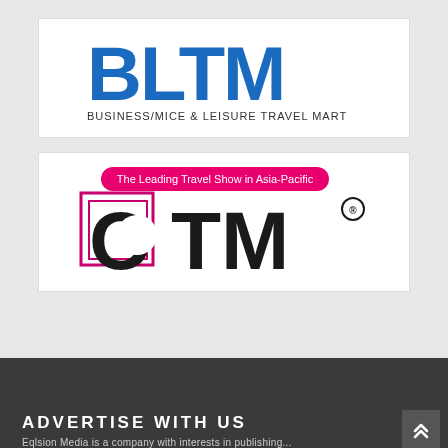[Figure (logo): BLTM logo - Business/MICE & Leisure Travel Mart, blue bold letters on white background]
[Figure (logo): OTM logo - The Leading Travel Show in Asia-Pacific, black bold letters with pink decorative border on white background]
ADVERTISE WITH US
Eqlsion Media is a company with interests in publishing...